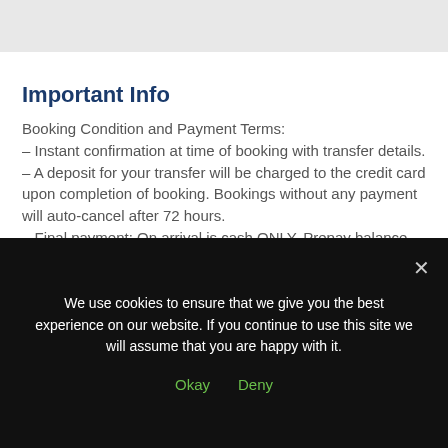Important Info
Booking Condition and Payment Terms:
– Instant confirmation at time of booking with transfer details.
– A deposit for your transfer will be charged to the credit card upon completion of booking. Bookings without any payment will auto-cancel after 72 hours.
– Final payment: On arrival is cash ONLY. Prepay balance
We use cookies to ensure that we give you the best experience on our website. If you continue to use this site we will assume that you are happy with it.
Okay  Deny